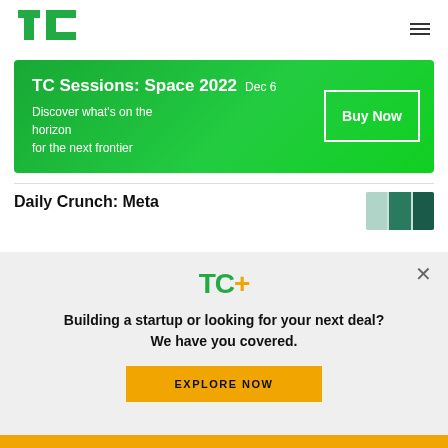TechCrunch logo and navigation
[Figure (infographic): TC Sessions: Space 2022 banner advertisement. Green background. Title: TC Sessions: Space 2022, Dec 6. Tagline: Discover what's on the horizon for the next frontier. Buy Now button with white border.]
Daily Crunch: Meta
[Figure (screenshot): Article thumbnail showing colored bars/rectangles in teal and green tones]
[Figure (infographic): TC+ modal overlay popup on light grey background. TC+ logo in green and orange. Tagline: Building a startup or looking for your next deal? We have you covered. Yellow/orange EXPLORE NOW button. Close X button top right.]